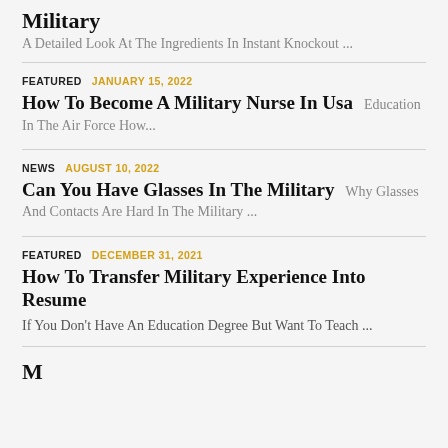Military
A Detailed Look At The Ingredients In Instant Knockout ...
FEATURED  JANUARY 15, 2022
How To Become A Military Nurse In Usa  Education In The Air Force How...
NEWS  AUGUST 10, 2022
Can You Have Glasses In The Military  Why Glasses And Contacts Are Hard In The Military ...
FEATURED  DECEMBER 31, 2021
How To Transfer Military Experience Into Resume
If You Don't Have An Education Degree But Want To Teach ...